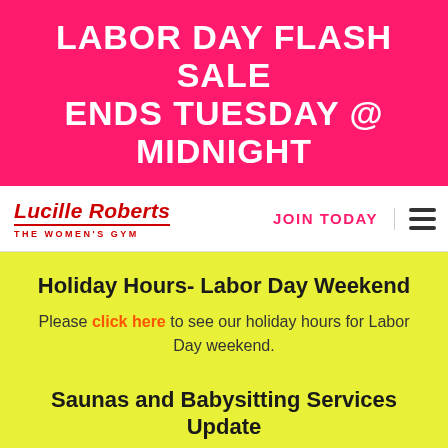LABOR DAY FLASH SALE ENDS TUESDAY @ MIDNIGHT
[Figure (logo): Lucille Roberts - The Women's Gym logo in red italic with red underline and 'THE WOMEN'S GYM' subtitle]
JOIN TODAY
Holiday Hours- Labor Day Weekend
Please click here to see our holiday hours for Labor Day weekend.
Saunas and Babysitting Services Update
Due to the ongoing pandemic saunas and babysitting services are temporarily closed.
[Figure (photo): Dark photo of a woman at a gym, with partial Lucille Roberts logo visible]